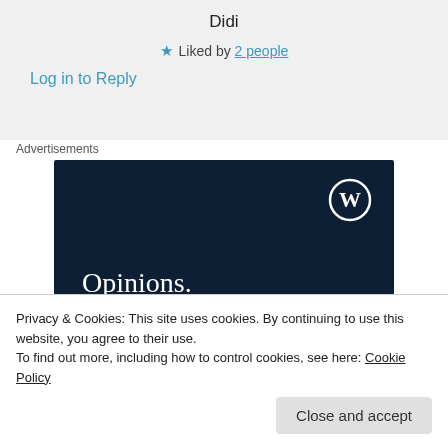Didi
★ Liked by 2 people
Log in to Reply
Advertisements
[Figure (screenshot): WordPress.com advertisement banner with dark navy background showing WordPress logo (W in circle) in top right, and text 'Opinions. We all have them!' in white serif font]
Privacy & Cookies: This site uses cookies. By continuing to use this website, you agree to their use.
To find out more, including how to control cookies, see here: Cookie Policy
Close and accept